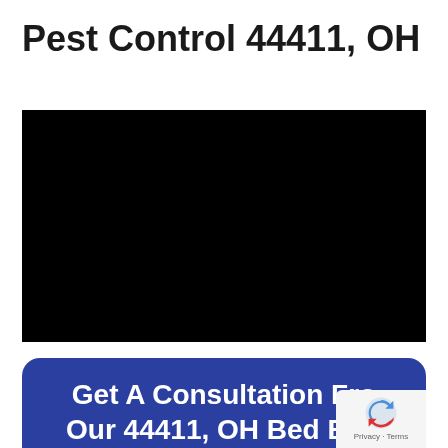Pest Control 44411, OH
[Figure (other): Black rectangle representing a video embed placeholder]
Get A Consultation From Our 44411, OH Bed Bug